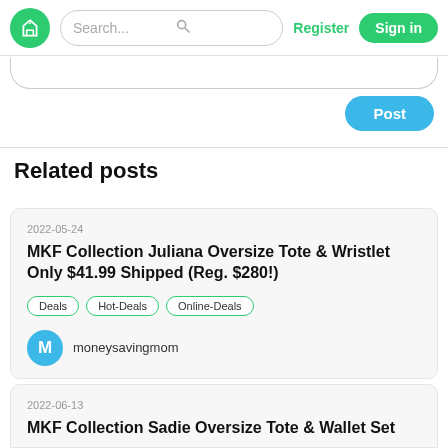Search... Register Sign in
Post
Related posts
2022-05-24
MKF Collection Juliana Oversize Tote & Wristlet Only $41.99 Shipped (Reg. $280!)
Deals
Hot-Deals
Online-Deals
moneysavingmom
2022-06-13
MKF Collection Sadie Oversize Tote & Wallet Set